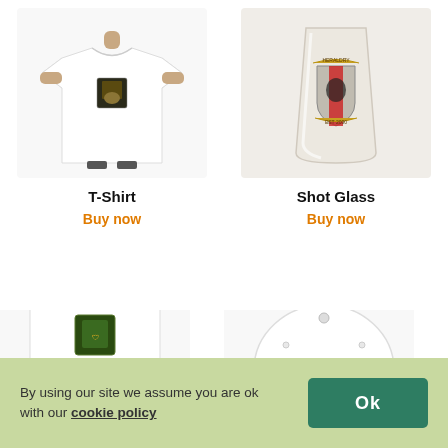[Figure (photo): White t-shirt with heraldic crest logo worn by a man]
T-Shirt
Buy now
[Figure (photo): White ceramic shot glass with heraldic crest logo]
Shot Glass
Buy now
[Figure (photo): White t-shirt (partial, bottom half visible)]
[Figure (photo): White baseball cap with heraldic crest logo (partial)]
By using our site we assume you are ok with our cookie policy